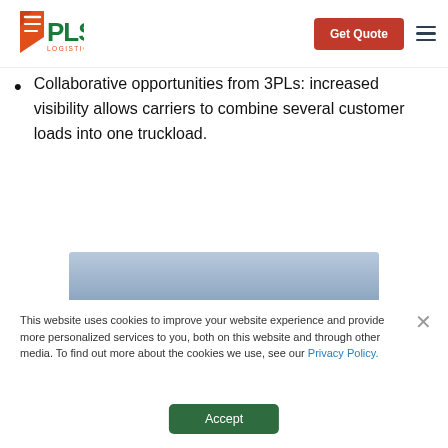[Figure (logo): PLS Logistics Services logo with orange arrow icon and green PLS text]
[Figure (other): Orange 'Get Quote' button and hamburger menu icon in header]
Collaborative opportunities from 3PLs: increased visibility allows carriers to combine several customer loads into one truckload.
[Figure (other): Partial blue-gray horizontal banner bar visible at bottom of main content area]
This website uses cookies to improve your website experience and provide more personalized services to you, both on this website and through other media. To find out more about the cookies we use, see our Privacy Policy.
Accept